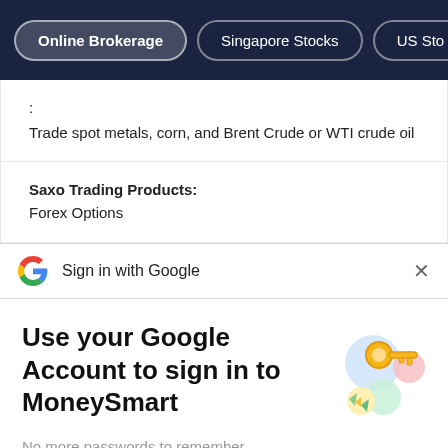Online Brokerage | Singapore Stocks | US Stocks
: Trade spot metals, corn, and Brent Crude or WTI crude oil
Saxo Trading Products: Forex Options
Sign in with Google
Use your Google Account to sign in to MoneySmart
No more passwords to remember. Signing in is fast, simple and secure.
Continue